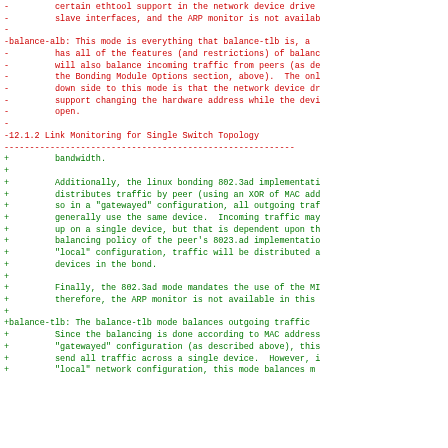Diff/patch content showing Linux bonding documentation changes, including balance-alb mode description, Link Monitoring for Single Switch Topology section header, and balance-tlb mode description with 802.3ad implementation notes.